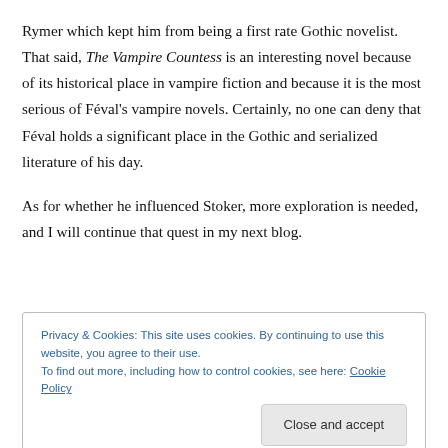Rymer which kept him from being a first rate Gothic novelist. That said, The Vampire Countess is an interesting novel because of its historical place in vampire fiction and because it is the most serious of Féval's vampire novels. Certainly, no one can deny that Féval holds a significant place in the Gothic and serialized literature of his day.
As for whether he influenced Stoker, more exploration is needed, and I will continue that quest in my next blog.
Privacy & Cookies: This site uses cookies. By continuing to use this website, you agree to their use.
To find out more, including how to control cookies, see here: Cookie Policy
Close and accept
His scholarly nonfiction works include King Arthur's